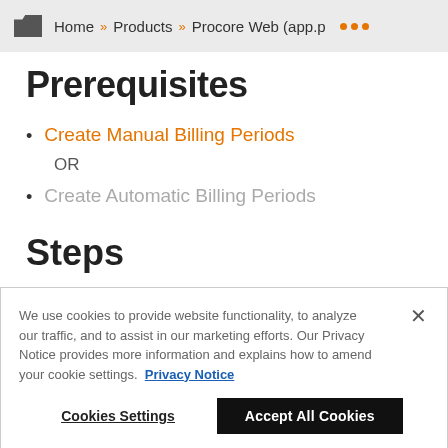Home » Products » Procore Web (app.p ...
Prerequisites
Create Manual Billing Periods
OR
Create Automatic Billing Periods
Steps
We use cookies to provide website functionality, to analyze our traffic, and to assist in our marketing efforts. Our Privacy Notice provides more information and explains how to amend your cookie settings.  Privacy Notice
Cookies Settings   Accept All Cookies